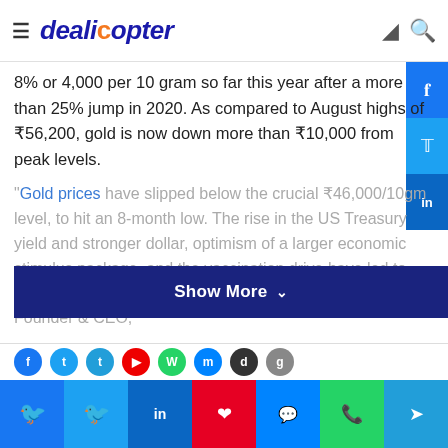dealicopter
8% or 4,000 per 10 gram so far this year after a more than 25% jump in 2020. As compared to August highs of ₹56,200, gold is now down more than ₹10,000 from peak levels.
"Gold prices have slipped below the crucial ₹46,000/10gm level, to hit an 8-month low. The rise in the US Treasury yield and stronger dollar, optimism of a larger economic stimulus package, and the vaccination drive have led to downside pressure on gold prices," says Nish Bhatt, Founder & CEO,
Show More ∨